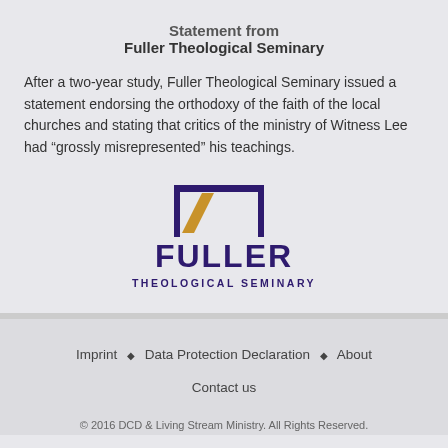Statement from Fuller Theological Seminary
After a two-year study, Fuller Theological Seminary issued a statement endorsing the orthodoxy of the faith of the local churches and stating that critics of the ministry of Witness Lee had “grossly misrepresented” his teachings.
[Figure (logo): Fuller Theological Seminary logo — a stylized open book/doorway shape in dark purple with a gold/amber diagonal stroke, above the text FULLER in large dark purple letters and THEOLOGICAL SEMINARY in smaller dark purple letters below.]
Imprint ♦ Data Protection Declaration ♦ About
Contact us
© 2016 DCD & Living Stream Ministry. All Rights Reserved.